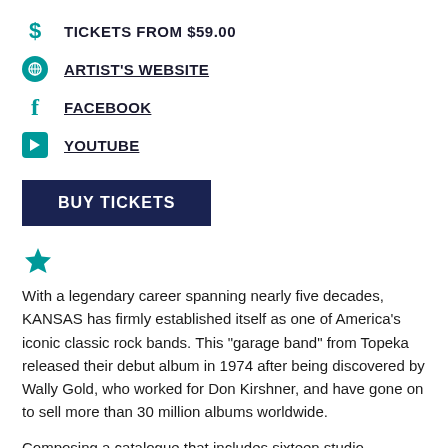TICKETS FROM $59.00
ARTIST'S WEBSITE
FACEBOOK
YOUTUBE
BUY TICKETS
[Figure (illustration): Teal star icon]
With a legendary career spanning nearly five decades, KANSAS has firmly established itself as one of America's iconic classic rock bands. This "garage band" from Topeka released their debut album in 1974 after being discovered by Wally Gold, who worked for Don Kirshner, and have gone on to sell more than 30 million albums worldwide.
Composing a catalogue that includes sixteen studio